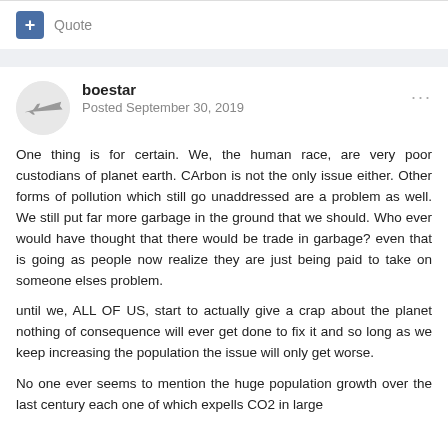+ Quote
boestar
Posted September 30, 2019
One thing is for certain.  We, the human race, are very poor custodians of planet earth.  CArbon is not the only issue either.  Other forms of pollution which still go unaddressed are a problem as well.  We still put far more garbage in the ground that we should.  Who ever would have thought that there would be trade in garbage? even that is going as people now realize they are just being paid to take on someone elses problem.
until we, ALL OF US, start to actually give a crap about the planet nothing of consequence will ever get done to fix it and so long as we keep increasing the population the issue will only get worse.
No one ever seems to mention the huge population growth over the last century each one of which expells CO2 in large